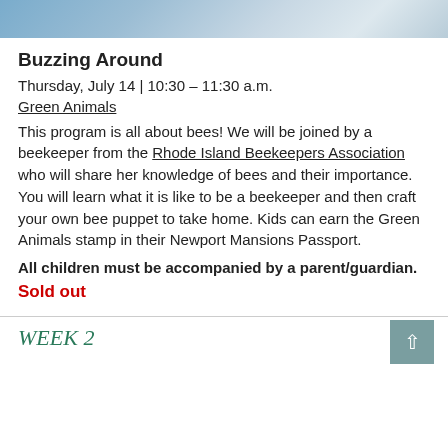[Figure (photo): Partial view of a blue cloth or tarpaulin on grass, cropped at top of page]
Buzzing Around
Thursday, July 14 | 10:30 – 11:30 a.m.
Green Animals
This program is all about bees! We will be joined by a beekeeper from the Rhode Island Beekeepers Association who will share her knowledge of bees and their importance. You will learn what it is like to be a beekeeper and then craft your own bee puppet to take home. Kids can earn the Green Animals stamp in their Newport Mansions Passport.
All children must be accompanied by a parent/guardian.
Sold out
WEEK 2